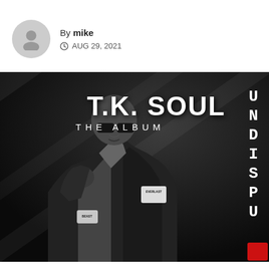By mike
AUG 29, 2021
[Figure (photo): Album cover for T.K. Soul 'The Album - Undisputed'. Black and white photo of a bald man wearing sunglasses and a boxing robe with Everlast branding, standing in a fighting pose. Text on the cover reads 'T.K. SOUL THE ALBUM' and 'UNDISPU' vertically on the right side.]
We use cookies on our website to give you the most relevant experience by remembering your preferences and repeat